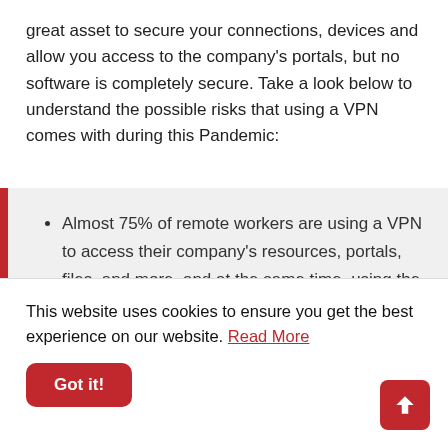great asset to secure your connections, devices and allow you access to the company's portals, but no software is completely secure. Take a look below to understand the possible risks that using a VPN comes with during this Pandemic:
Almost 75% of remote workers are using a VPN to access their company's resources, portals, files, and more, and at the same time, using the home network to access the corporate VPN. If your home network is weak or unsecure,
This website uses cookies to ensure you get the best experience on our website. Read More